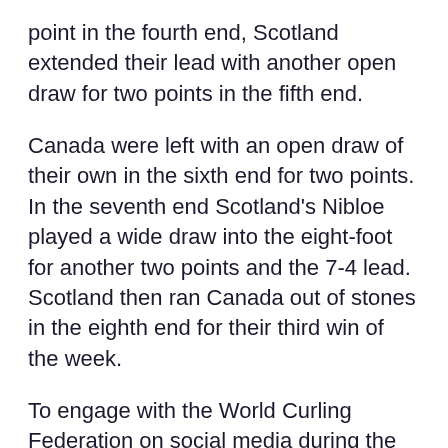point in the fourth end, Scotland extended their lead with another open draw for two points in the fifth end.
Canada were left with an open draw of their own in the sixth end for two points. In the seventh end Scotland's Nibloe played a wide draw into the eight-foot for another two points and the 7-4 lead. Scotland then ran Canada out of stones in the eighth end for their third win of the week.
To engage with the World Curling Federation on social media during the World Wheelchair Curling Championship 2021 follow it on Twitter, Instagram and Facebook and use the hashtags